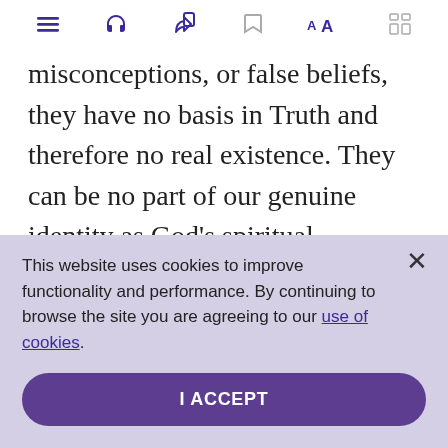[toolbar icons: menu, headphones, share, bookmark, font size AA, grid]
misconceptions, or false beliefs, they have no basis in Truth and therefore no real existence. They can be no part of our genuine identity as God's spiritual reflection, and we can shut the door on
This website uses cookies to improve functionality and performance. By continuing to browse the site you are agreeing to our use of cookies.
I ACCEPT